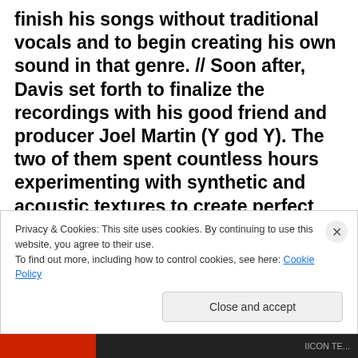finish his songs without traditional vocals and to begin creating his own sound in that genre. // Soon after, Davis set forth to finalize the recordings with his good friend and producer Joel Martin (Y god Y). The two of them spent countless hours experimenting with synthetic and acoustic textures to create perfect soundscapes to compliment Davis' intricately arranged compositions. In 2018, Davis self-released singles House Plant & 40K, and continued to take Pala Zolo to another level by performing live with drummer Gerardo Rojas. The duo brings the songs to life with
Privacy & Cookies: This site uses cookies. By continuing to use this website, you agree to their use.
To find out more, including how to control cookies, see here: Cookie Policy
Close and accept